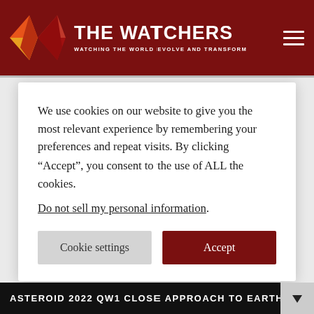THE WATCHERS — WATCHING THE WORLD EVOLVE AND TRANSFORM
We use cookies on our website to give you the most relevant experience by remembering your preferences and repeat visits. By clicking “Accept”, you consent to the use of ALL the cookies.
Do not sell my personal information.
ASTEROID 2022 QW1 CLOSE APPROACH TO EARTH